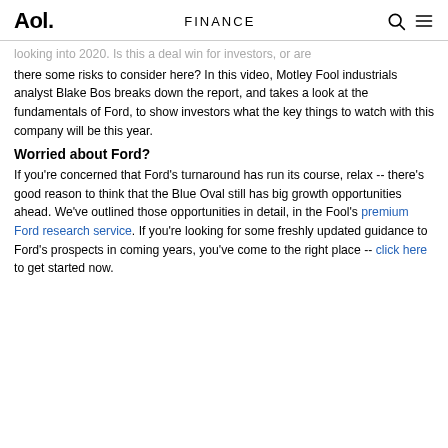Aol. | FINANCE
looking into 2020. Is this a deal win for investors, or are there some risks to consider here? In this video, Motley Fool industrials analyst Blake Bos breaks down the report, and takes a look at the fundamentals of Ford, to show investors what the key things to watch with this company will be this year.
Worried about Ford?
If you're concerned that Ford's turnaround has run its course, relax -- there's good reason to think that the Blue Oval still has big growth opportunities ahead. We've outlined those opportunities in detail, in the Fool's premium Ford research service. If you're looking for some freshly updated guidance to Ford's prospects in coming years, you've come to the right place -- click here to get started now.